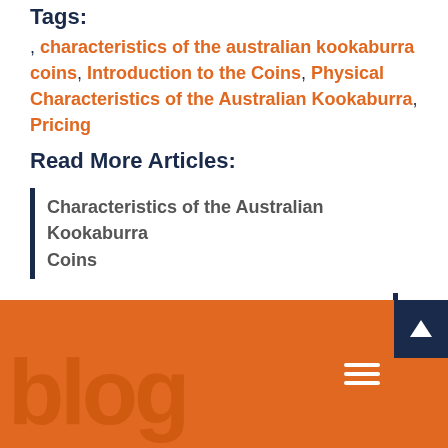Tags:
, characteristics of the australian kookaburra coins, Introduction to the Coins, Physical Characteristics of the Australian Kookaburra, Pricing
Read More Articles:
Characteristics of the Australian Kookaburra Coins
Do Betta Fish Poop?
[Figure (other): Website footer with orange background, large watermark logo text, hamburger menu icon, and dark blue scroll-to-top button with up arrow]